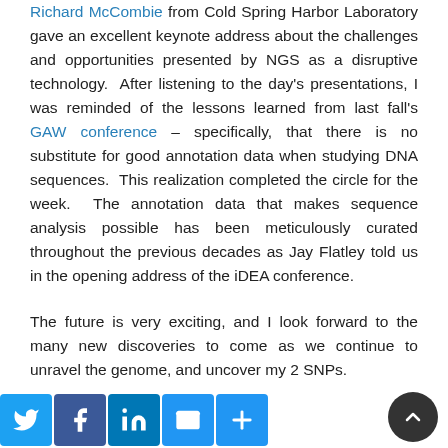Richard McCombie from Cold Spring Harbor Laboratory gave an excellent keynote address about the challenges and opportunities presented by NGS as a disruptive technology. After listening to the day's presentations, I was reminded of the lessons learned from last fall's GAW conference – specifically, that there is no substitute for good annotation data when studying DNA sequences. This realization completed the circle for the week. The annotation data that makes sequence analysis possible has been meticulously curated throughout the previous decades as Jay Flatley told us in the opening address of the iDEA conference.
The future is very exciting, and I look forward to the many new discoveries to come as we continue to unravel the genome, and uncover my 2 SNPs.